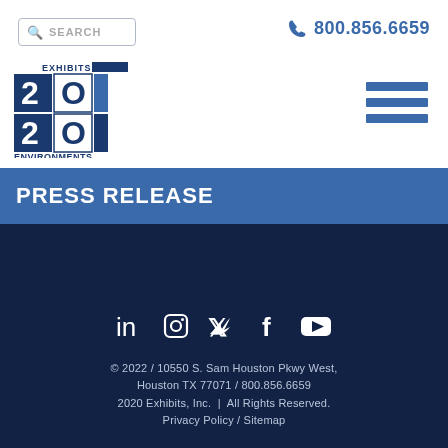SEARCH | 800.856.6659
[Figure (logo): 2020 Exhibits Events Environments logo — a grid of squares with '20 20' text]
PRESS RELEASE
© 2022 / 10550 S. Sam Houston Pkwy West, Houston TX 77071 / 800.856.6659 2020 Exhibits, Inc. | All Rights Reserved. Privacy Policy / Sitemap